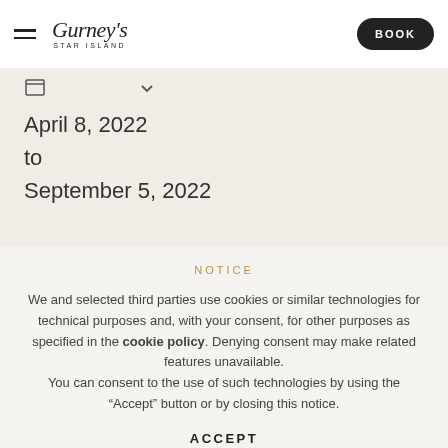Gurney's Star Island | BOOK
April 8, 2022
to
September 5, 2022
NOTICE
We and selected third parties use cookies or similar technologies for technical purposes and, with your consent, for other purposes as specified in the cookie policy. Denying consent may make related features unavailable. You can consent to the use of such technologies by using the “Accept” button or by closing this notice.
ACCEPT
LEARN MORE AND CUSTOMIZE